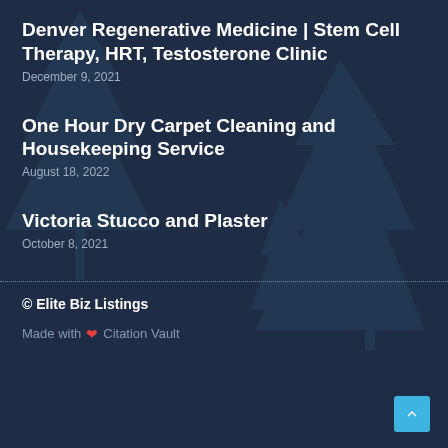Denver Regenerative Medicine | Stem Cell Therapy, HRT, Testosterone Clinic
December 9, 2021
One Hour Dry Carpet Cleaning and Housekeeping Service
August 18, 2022
Victoria Stucco and Plaster
October 8, 2021
© Elite Biz Listings
Made with ❤ Citation Vault